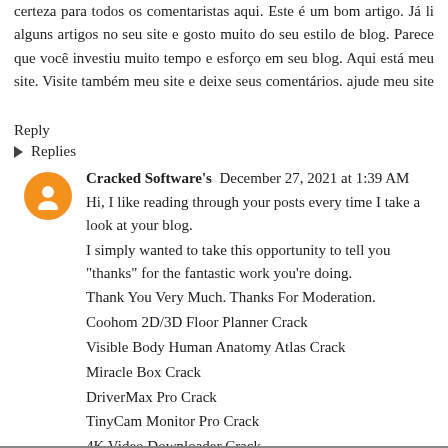certeza para todos os comentaristas aqui. Este é um bom artigo. Já li alguns artigos no seu site e gosto muito do seu estilo de blog. Parece que você investiu muito tempo e esforço em seu blog. Aqui está meu site. Visite também meu site e deixe seus comentários. ajude meu site 마사지
Reply
▶ Replies
Cracked Software's  December 27, 2021 at 1:39 AM
Hi, I like reading through your posts every time I take a look at your blog.
I simply wanted to take this opportunity to tell you "thanks" for the fantastic work you're doing.
Thank You Very Much. Thanks For Moderation.
Coohom 2D/3D Floor Planner Crack
Visible Body Human Anatomy Atlas Crack
Miracle Box Crack
DriverMax Pro Crack
TinyCam Monitor Pro Crack
4K Video Downloader Crack